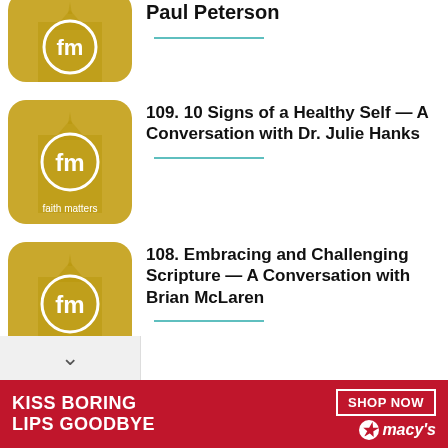[Figure (logo): Faith Matters podcast thumbnail - gold background with fm logo and temple silhouette]
Paul Peterson
[Figure (logo): Faith Matters podcast thumbnail - gold background with fm logo and temple silhouette]
109. 10 Signs of a Healthy Self — A Conversation with Dr. Julie Hanks
[Figure (logo): Faith Matters podcast thumbnail - gold background with fm logo and temple silhouette]
108. Embracing and Challenging Scripture — A Conversation with Brian McLaren
[Figure (photo): Advertisement: KISS BORING LIPS GOODBYE — SHOP NOW — Macy's, featuring woman with red lips]